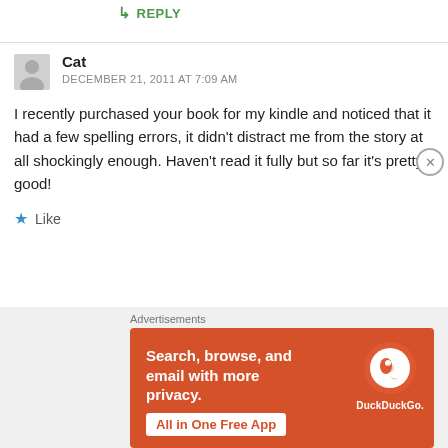↳ REPLY
Cat
DECEMBER 21, 2011 AT 7:09 AM
I recently purchased your book for my kindle and noticed that it had a few spelling errors, it didn't distract me from the story at all shockingly enough. Haven't read it fully but so far it's pretty good!
Like
Advertisements
[Figure (screenshot): DuckDuckGo advertisement banner with orange background showing text 'Search, browse, and email with more privacy. All in One Free App' with DuckDuckGo logo and phone graphic]